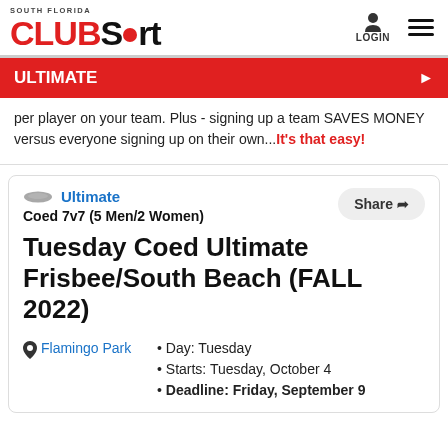SOUTH FLORIDA CLUBSport LOGIN
ULTIMATE
per player on your team. Plus - signing up a team SAVES MONEY versus everyone signing up on their own...It's that easy!
Ultimate Coed 7v7 (5 Men/2 Women)
Tuesday Coed Ultimate Frisbee/South Beach (FALL 2022)
Day: Tuesday
Starts: Tuesday, October 4
Deadline: Friday, September 9
Flamingo Park